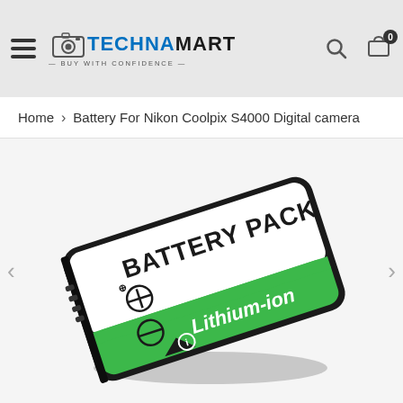TECHNAMART - BUY WITH CONFIDENCE
Home > Battery For Nikon Coolpix S4000 Digital camera
[Figure (photo): A lithium-ion battery pack labeled 'BATTERY PACK' in black text on white, with a green band at the bottom reading 'Lithium-ion' in white text. The battery has a positive terminal symbol, a negative terminal symbol, and a polarity arrow on the white label face. The battery body is black plastic with a green accent band.]